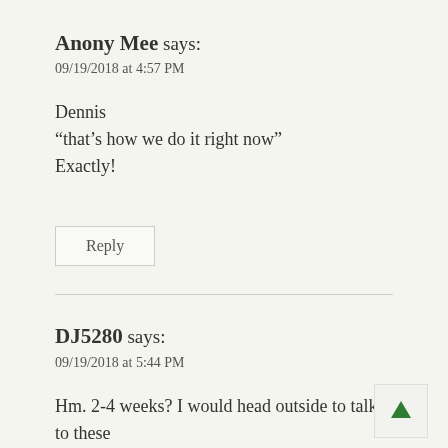Anony Mee says:
09/19/2018 at 4:57 PM
Dennis
“that’s how we do it right now”
Exactly!
Reply
DJ5280 says:
09/19/2018 at 5:44 PM
Hm. 2-4 weeks? I would head outside to talk to these people (with my darlin’ watching my back) and tell